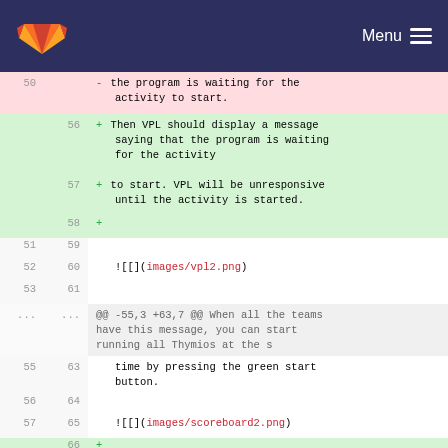GitLab Menu
| old | new | content |
| --- | --- | --- |
|  |  | - the program is waiting for the activity to start. |
| 56 |  | + Then VPL should display a message saying that the program is waiting for the activity |
| 57 |  | + to start. VPL will be unresponsive until the activity is started. |
| 58 |  | + |
| 51 | 59 |  |
| 52 | 60 | ![](images/vpl2.png) |
| 53 | 61 |  |
| ... | ... | @@ -55,3 +63,7 @@ When all the teams have this message, you can start running all Thymios at the s |
| 55 | 63 | time by pressing the green start button. |
| 56 | 64 |  |
| 57 | 65 | ![](images/scoreboard2.png) |
|  | 66 | + |
|  | 67 | + When the Thymios and the timer |